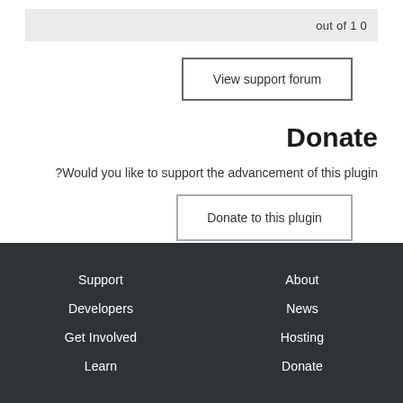out of 10
View support forum
Donate
Would you like to support the advancement of this plugin?
Donate to this plugin
Support  Developers  Get Involved  Learn  About  News  Hosting  Donate